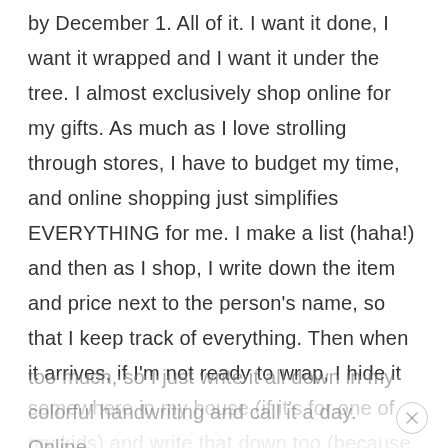by December 1. All of it. I want it done, I want it wrapped and I want it under the tree. I almost exclusively shop online for my gifts. As much as I love strolling through stores, I have to budget my time, and online shopping just simplifies EVERYTHING for me. I make a list (haha!) and then as I shop, I write down the item and price next to the person's name, so that I keep track of everything. Then when it arrives, if I'm not ready to wrap, I hide it somewhere in my house (if it's for one of my kids) and write that down too (because I've been known to forget my hiding spots). Now, some of you techy people probably use fancy spreadsheets for this stuff, but I enjoy markers too much, so I just write it all down in my colorful handwriting and call it a day. Online